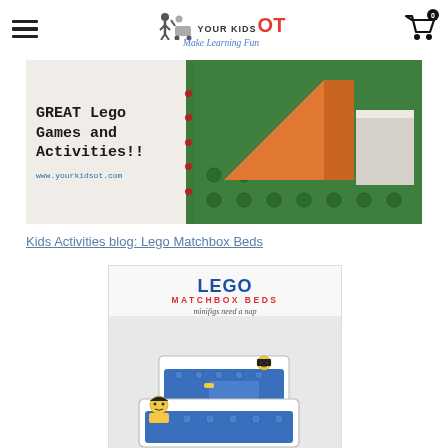YOUR KIDS OT - Make Learning Fun
[Figure (photo): Banner image showing GREAT Lego Games and Activities!! text with lego bricks and geometric shapes on green base, www.yourkidsot.com]
Kids Activities blog: Lego Matchbox Beds
[Figure (photo): LEGO MATCHBOX BEDS - minifigs need a nap - promotional image showing lego minifigures lying in matchbox beds covered with blue lego bricks]